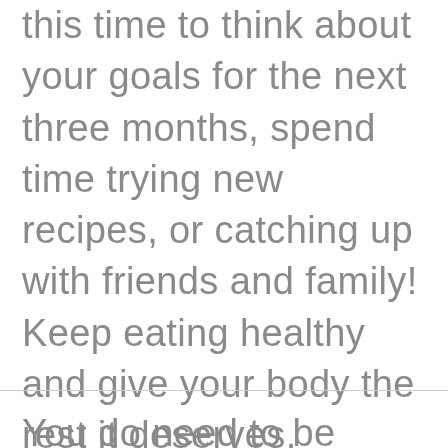this time to think about your goals for the next three months, spend time trying new recipes, or catching up with friends and family! Keep eating healthy and give your body the rest it deserves.
You do need to be honest with yourself. Do